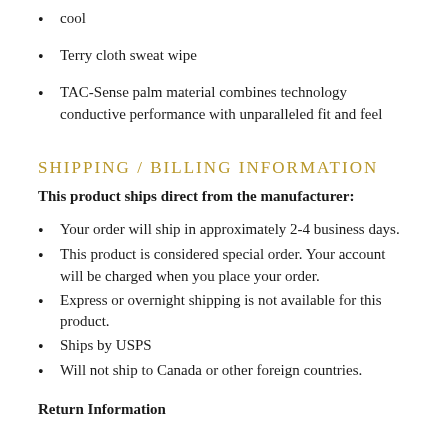cool
Terry cloth sweat wipe
TAC-Sense palm material combines technology conductive performance with unparalleled fit and feel
SHIPPING / BILLING INFORMATION
This product ships direct from the manufacturer:
Your order will ship in approximately 2-4 business days.
This product is considered special order. Your account will be charged when you place your order.
Express or overnight shipping is not available for this product.
Ships by USPS
Will not ship to Canada or other foreign countries.
Return Information